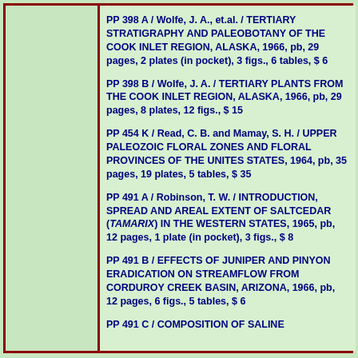PP 398 A / Wolfe, J. A., et.al. / TERTIARY STRATIGRAPHY AND PALEOBOTANY OF THE COOK INLET REGION, ALASKA, 1966, pb, 29 pages, 2 plates (in pocket), 3 figs., 6 tables, $ 6
PP 398 B / Wolfe, J. A. / TERTIARY PLANTS FROM THE COOK INLET REGION, ALASKA, 1966, pb, 29 pages, 8 plates, 12 figs., $ 15
PP 454 K / Read, C. B. and Mamay, S. H. / UPPER PALEOZOIC FLORAL ZONES AND FLORAL PROVINCES OF THE UNITES STATES, 1964, pb, 35 pages, 19 plates, 5 tables, $ 35
PP 491 A / Robinson, T. W. / INTRODUCTION, SPREAD AND AREAL EXTENT OF SALTCEDAR (TAMARIX) IN THE WESTERN STATES, 1965, pb, 12 pages, 1 plate (in pocket), 3 figs., $ 8
PP 491 B / EFFECTS OF JUNIPER AND PINYON ERADICATION ON STREAMFLOW FROM CORDUROY CREEK BASIN, ARIZONA, 1966, pb, 12 pages, 6 figs., 5 tables, $ 6
PP 491 C / COMPOSITION OF SALINE